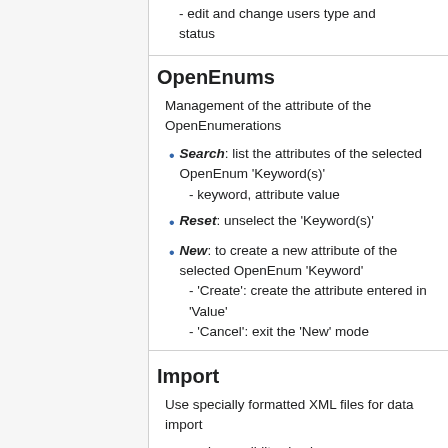- edit and change users type and status
OpenEnums
Management of the attribute of the OpenEnumerations
Search: list the attributes of the selected OpenEnum 'Keyword(s)' - keyword, attribute value
Reset: unselect the 'Keyword(s)'
New: to create a new attribute of the selected OpenEnum 'Keyword' - 'Create': create the attribute entered in 'Value' - 'Cancel': exit the 'New' mode
Import
Use specially formatted XML files for data import
- various validity checks are